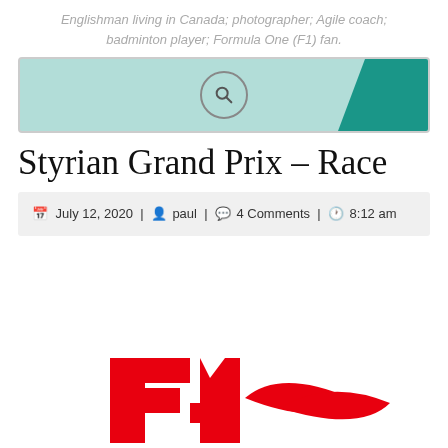Englishman living in Canada; photographer; Agile coach; badminton player; Formula One (F1) fan.
[Figure (screenshot): Search bar with teal/mint background, teal triangle corner accent on right, and a search magnifying glass icon in the center]
Styrian Grand Prix – Race
July 12, 2020 | paul | 4 Comments | 8:12 am
[Figure (logo): Formula 1 logo in red and white, partially visible at bottom of page]